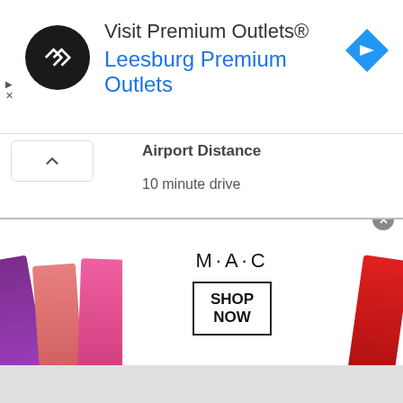[Figure (screenshot): Advertisement banner: Visit Premium Outlets® Leesburg Premium Outlets with logo and navigation icon]
Airport Distance
10 minute drive
High Season
November through April
[Figure (screenshot): M·A·C cosmetics advertisement showing lipsticks with SHOP NOW button]